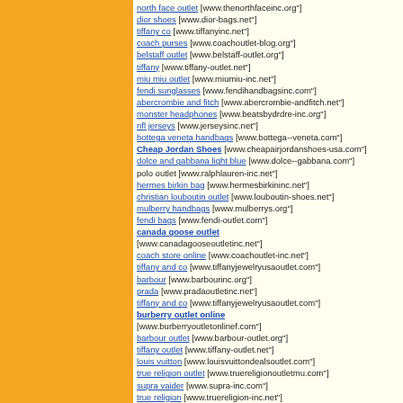north face outlet [www.thenorthfaceinc.org"] dior shoes [www.dior-bags.net"] tiffany co [www.tiffanyinc.net"] coach purses [www.coachoutlet-blog.org"] belstaff outlet [www.belstaff-outlet.org"] tiffany [www.tiffany-outlet.net"] miu miu outlet [www.miumiu-inc.net"] fendi sunglasses [www.fendihandbagsinc.com"] abercrombie and fitch [www.abercrombie-andfitch.net"] monster headphones [www.beatsbydrdre-inc.org"] nfl jerseys [www.jerseysinc.net"] bottega veneta handbags [www.bottega--veneta.com"] Cheap Jordan Shoes [www.cheapairjordanshoes-usa.com"] dolce and gabbana light blue [www.dolce--gabbana.com"] polo outlet [www.ralphlauren-inc.net"] hermes birkin bag [www.hermesbirkininc.net"] christian louboutin outlet [www.louboutin-shoes.net"] mulberry handbags [www.mulberrys.org"] fendi bags [www.fendi-outlet.com"] canada goose outlet [www.canadagooseoutletinc.net"] coach store online [www.coachoutlet-inc.net"] tiffany and co [www.tiffanyjewelryusaoutlet.com"] barbour [www.barbourinc.org"] prada [www.pradaoutletinc.net"] tiffany and co [www.tiffanyjewelryusaoutlet.com"] burberry outlet online [www.burberryoutletonlinef.com"] barbour outlet [www.barbour-outlet.org"] tiffany outlet [www.tiffany-outlet.net"] louis vuitton [www.louisvuittondealsoutlet.com"] true religion outlet [www.truereligionoutletmu.com"] supra vaider [www.supra-inc.com"] true religion [www.truereligion-inc.net"] nike running shoes [www.nikeoutletinc.net"] tory burch [www.toryburchoutletinc.net"]